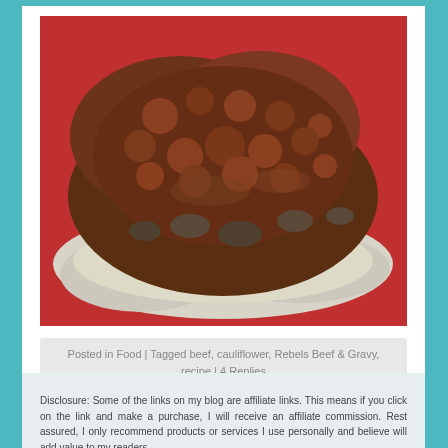[Figure (photo): Close-up photo of beef and gravy with mushrooms served over mashed cauliflower on a red plate]
Posted in Food | Tagged beef, cauliflower, Rebels Beef & Gravy, recipe | 4 Replies
Disclosure: Some of the links on my blog are affiliate links. This means if you click on the link and make a purchase, I will receive an affiliate commission. Rest assured, I only recommend products or services I use personally and believe will add value to my readers.